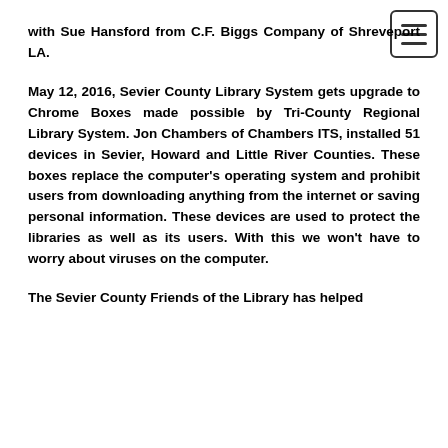[Figure (other): Hamburger menu icon button in top-right corner]
with Sue Hansford from C.F. Biggs Company of Shreveport LA.
May 12, 2016, Sevier County Library System gets upgrade to Chrome Boxes made possible by Tri-County Regional Library System. Jon Chambers of Chambers ITS, installed 51 devices in Sevier, Howard and Little River Counties. These boxes replace the computer's operating system and prohibit users from downloading anything from the internet or saving personal information. These devices are used to protect the libraries as well as its users. With this we won't have to worry about viruses on the computer.
The Sevier County Friends of the Library has helped